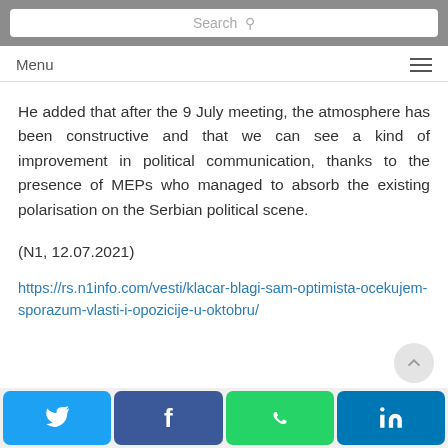Menu
He added that after the 9 July meeting, the atmosphere has been constructive and that we can see a kind of improvement in political communication, thanks to the presence of MEPs who managed to absorb the existing polarisation on the Serbian political scene.
(N1, 12.07.2021)
https://rs.n1info.com/vesti/klacar-blagi-sam-optimista-ocekujem-sporazum-vlasti-i-opozicije-u-oktobru/